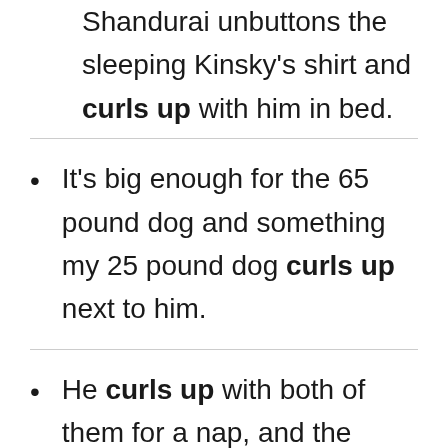Shandurai unbuttons the sleeping Kinsky's shirt and curls up with him in bed.
It's big enough for the 65 pound dog and something my 25 pound dog curls up next to him.
He curls up with both of them for a nap, and the story could have ended very sweetly, right there.
He wags his whole butt when I pull it